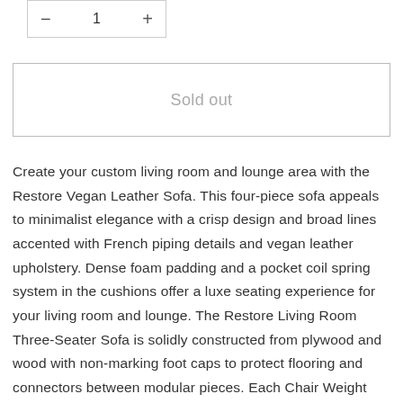— 1 +
Sold out
Create your custom living room and lounge area with the Restore Vegan Leather Sofa. This four-piece sofa appeals to minimalist elegance with a crisp design and broad lines accented with French piping details and vegan leather upholstery. Dense foam padding and a pocket coil spring system in the cushions offer a luxe seating experience for your living room and lounge. The Restore Living Room Three-Seater Sofa is solidly constructed from plywood and wood with non-marking foot caps to protect flooring and connectors between modular pieces. Each Chair Weight Capacity: 440 lbs. Set Includes: One - Restore Left-Arm Sectional Sofa Chair One - Restore Right-Arm Sectional Sofa